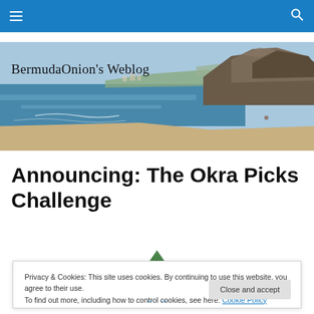≡  🔍
[Figure (photo): BermudaOnion's Weblog banner image showing a coastal scene with rocky shoreline, ocean, and blue sky. Text overlay reads 'BermudaOnion's Weblog'.]
Announcing: The Okra Picks Challenge
Privacy & Cookies: This site uses cookies. By continuing to use this website, you agree to their use.
To find out more, including how to control cookies, see here: Cookie Policy
Close and accept